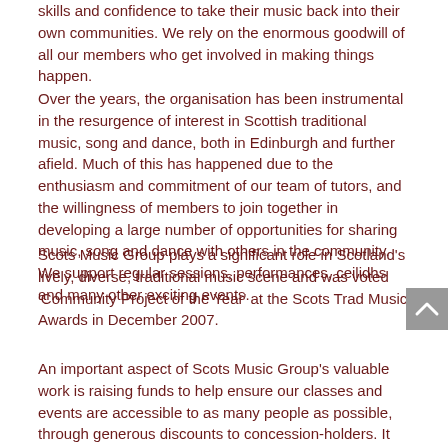skills and confidence to take their music back into their own communities. We rely on the enormous goodwill of all our members who get involved in making things happen.
Over the years, the organisation has been instrumental in the resurgence of interest in Scottish traditional music, song and dance, both in Edinburgh and further afield. Much of this has happened due to the enthusiasm and commitment of our team of tutors, and the willingness of members to join together in developing a large number of opportunities for sharing music, song and dance with others in the community. We support regular sessions, performances, ceilidhs and many other exciting events.
Scots Music Group plays a significant role in Scotland's lively, diverse, traditional music scene and was voted 'Community Project of the Year' at the Scots Trad Music Awards in December 2007.
An important aspect of Scots Music Group's valuable work is raising funds to help ensure our classes and events are accessible to as many people as possible, through generous discounts to concession-holders. It also allows us to actively support community development, which is an important aim of the organisation.
Scots Music Group is a registered charity number SC032702. SMG is a membership organisation with a